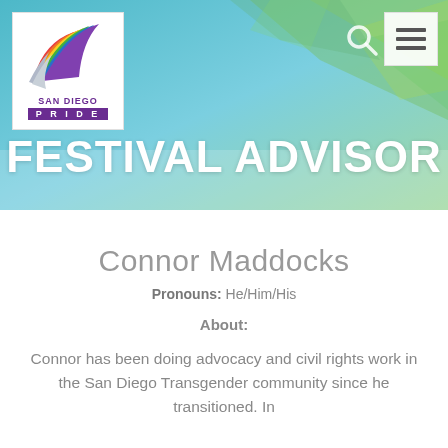[Figure (logo): San Diego Pride logo with colorful bird/wings in rainbow colors, text SAN DIEGO PRIDE]
FESTIVAL ADVISOR
Connor Maddocks
Pronouns: He/Him/His
About:
Connor has been doing advocacy and civil rights work in the San Diego Transgender community since he transitioned. In